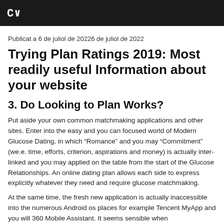C~
Publicat a 6 de juliol de 20226 de juliol de 2022
Trying Plan Ratings 2019: Most readily useful Information about your website
3. Do Looking to Plan Works?
Put aside your own common matchmaking applications and other sites. Enter into the easy and you can focused world of Modern Glucose Dating, in which “Romance” and you may “Commitment” (we.e. time, efforts, criterion, aspirations and money) is actually inter-linked and you may applied on the table from the start of the Glucose Relationships. An online dating plan allows each side to express explicitly whatever they need and require glucose matchmaking.
At the same time, the fresh new application is actually inaccessible into the numerous Android os places for example Tencent MyApp and you will 360 Mobile Assistant. It seems sensible when